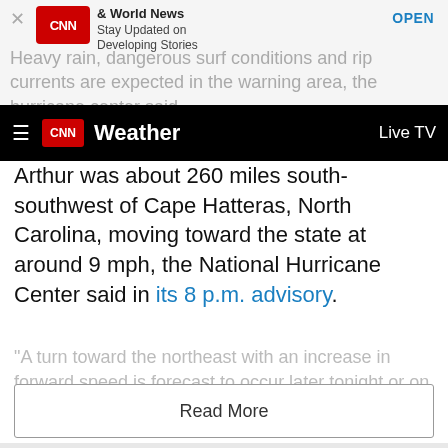[Figure (screenshot): CNN app notification banner with CNN logo, 'World News - Stay Updated on Developing Stories' text and OPEN button]
Heavy rain, dangerous surf conditions and rip currents are expected in the warning area, the hurricane center said.
CNN Weather  Live TV
Arthur was about 260 miles south-southwest of Cape Hatteras, North Carolina, moving toward the state at around 9 mph, the National Hurricane Center said in its 8 p.m. advisory.
"A turn toward the northeast with an increase in forward speed is forecast to occur later tonight or on Monday," the NHC said. "A turn toward the east is
Read More